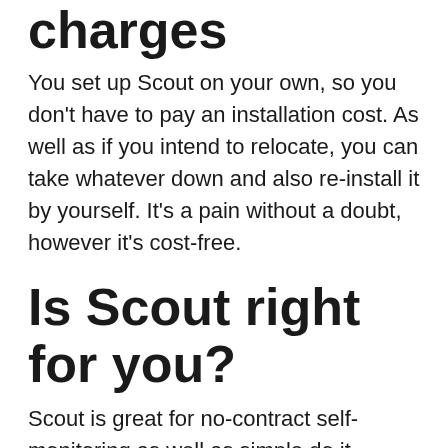charges
You set up Scout on your own, so you don't have to pay an installation cost. As well as if you intend to relocate, you can take whatever down and also re-install it by yourself. It's a pain without a doubt, however it's cost-free.
Is Scout right for you?
Scout is great for no-contract self-monitoring as well as simple do it yourself setup. We also such as that its professional surveillance prices less than the sector standard of $32 a month. Here are some great reasons to choose Scout over other safety systems: